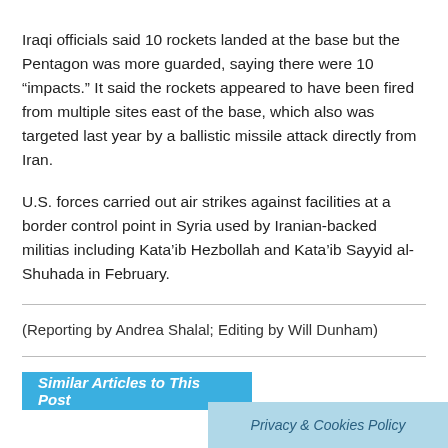Iraqi officials said 10 rockets landed at the base but the Pentagon was more guarded, saying there were 10 “impacts.” It said the rockets appeared to have been fired from multiple sites east of the base, which also was targeted last year by a ballistic missile attack directly from Iran.
U.S. forces carried out air strikes against facilities at a border control point in Syria used by Iranian-backed militias including Kata’ib Hezbollah and Kata’ib Sayyid al-Shuhada in February.
(Reporting by Andrea Shalal; Editing by Will Dunham)
Similar Articles to This Post
Privacy & Cookies Policy